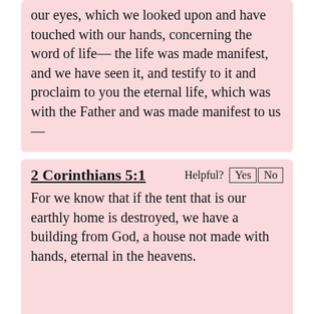our eyes, which we looked upon and have touched with our hands, concerning the word of life— the life was made manifest, and we have seen it, and testify to it and proclaim to you the eternal life, which was with the Father and was made manifest to us—
2 Corinthians 5:1
For we know that if the tent that is our earthly home is destroyed, we have a building from God, a house not made with hands, eternal in the heavens.
Acts 4:12
And there is salvation in no one else, for there is no other name under heaven given among men by which we must be